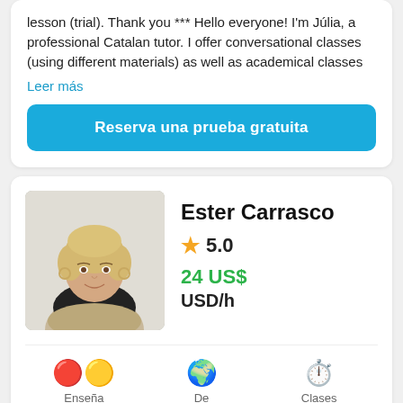lesson (trial). Thank you *** Hello everyone! I'm Júlia, a professional Catalan tutor. I offer conversational classes (using different materials) as well as academical classes
Leer más
Reserva una prueba gratuita
Ester Carrasco
★ 5.0
24 US$
USD/h
[Figure (photo): Profile photo of Ester Carrasco, a blonde woman smiling, wearing a black turtleneck and beige top]
Enseña
Catalán
De
España
Clases
951